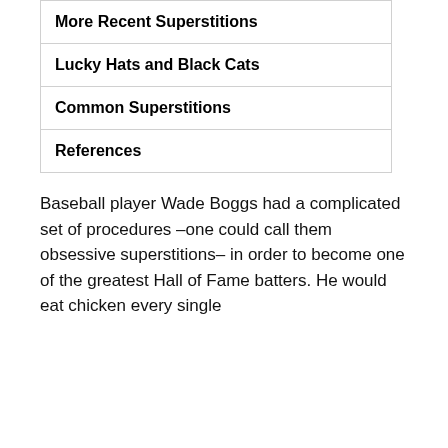More Recent Superstitions
Lucky Hats and Black Cats
Common Superstitions
References
Baseball player Wade Boggs had a complicated set of procedures –one could call them obsessive superstitions– in order to become one of the greatest Hall of Fame batters. He would eat chicken every single